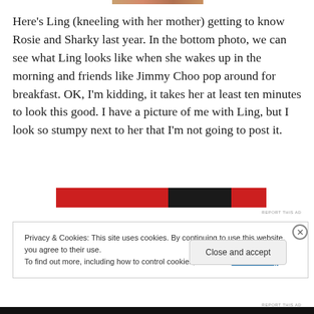[Figure (photo): Partial top edge of a photograph visible at top of page]
Here's Ling (kneeling with her mother) getting to know Rosie and Sharky last year. In the bottom photo, we can see what Ling looks like when she wakes up in the morning and friends like Jimmy Choo pop around for breakfast. OK, I'm kidding, it takes her at least ten minutes to look this good. I have a picture of me with Ling, but I look so stumpy next to her that I'm not going to post it.
[Figure (screenshot): Red advertisement banner with dark overlay section in center]
REPORT THIS AD
Privacy & Cookies: This site uses cookies. By continuing to use this website, you agree to their use.
To find out more, including how to control cookies, see here: Cookie Policy
Close and accept